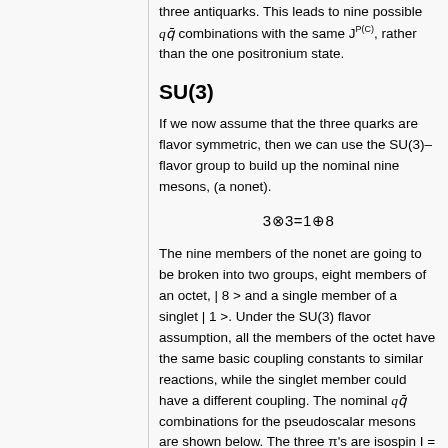three antiquarks. This leads to nine possible q q-bar combinations with the same J^P(C), rather than the one positronium state.
SU(3)
If we now assume that the three quarks are flavor symmetric, then we can use the SU(3)–flavor group to build up the nominal nine mesons, (a nonet).
The nine members of the nonet are going to be broken into two groups, eight members of an octet, | 8 > and a single member of a singlet | 1 >. Under the SU(3) flavor assumption, all the members of the octet have the same basic coupling constants to similar reactions, while the singlet member could have a different coupling. The nominal q q-bar combinations for the pseudoscalar mesons are shown below. The three π's are isospin I = 1, while the K's